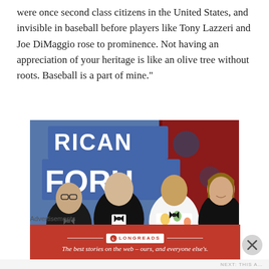were once second class citizens in the United States, and invisible in baseball before players like Tony Lazzeri and Joe DiMaggio rose to prominence. Not having an appreciation of your heritage is like an olive tree without roots. Baseball is a part of mine."
[Figure (photo): Four people in formal attire standing in front of a sign reading 'RICAN FORUM'. The leftmost man holds an award. A man in a colorful floral/American flag jacket is third from left. A woman in black is on the right.]
Advertisements
[Figure (logo): Longreads advertisement banner with red background reading: 'The best stories on the web – ours, and everyone else's.']